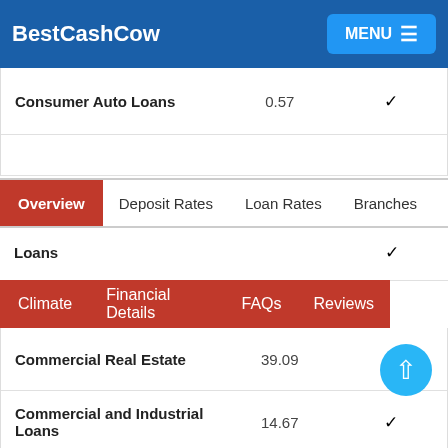BestCashCow  MENU
| Loan Type | Value | Available |
| --- | --- | --- |
| Consumer Auto Loans | 0.57 | ✓ |
| Loans |  | ✓ |
| Commercial Real Estate | 39.09 | ✓ |
| Commercial and Industrial Loans | 14.67 | ✓ |
| Farm Loans | 0.19 | ✓ |
Overview  Deposit Rates  Loan Rates  Branches
Climate  Financial Details  FAQs  Reviews
Customer Reviews for Summit